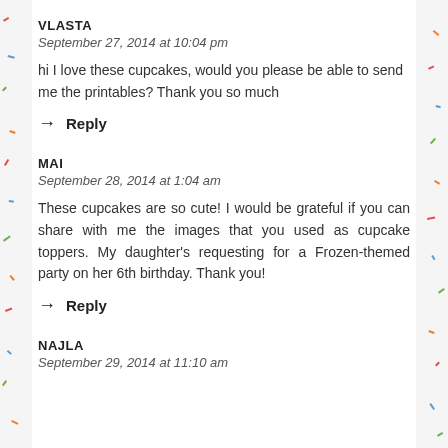VLASTA
September 27, 2014 at 10:04 pm
hi I love these cupcakes, would you please be able to send me the printables? Thank you so much
→  Reply
MAI
September 28, 2014 at 1:04 am
These cupcakes are so cute! I would be grateful if you can share with me the images that you used as cupcake toppers. My daughter's requesting for a Frozen-themed party on her 6th birthday. Thank you!
→  Reply
NAJLA
September 29, 2014 at 11:10 am